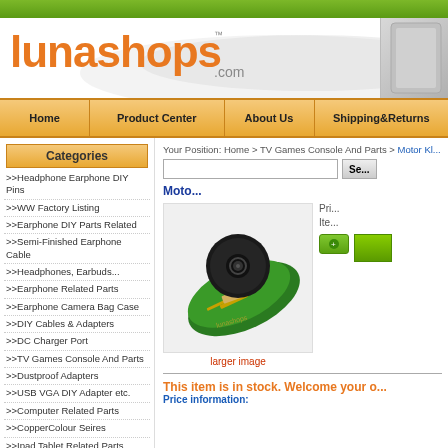[Figure (screenshot): Lunashops.com e-commerce website screenshot showing logo, navigation bar, category sidebar, and product page for a motor/spindle part]
lunashops.com
| Home | Product Center | About Us | Shipping&Returns |
| --- | --- | --- | --- |
|  |
Categories
>>Headphone Earphone DIY Pins
>>WW Factory Listing
>>Earphone DIY Parts Related
>>Semi-Finished Earphone Cable
>>Headphones, Earbuds...
>>Earphone Related Parts
>>Earphone Camera Bag Case
>>DIY Cables & Adapters
>>DC Charger Port
>>TV Games Console And Parts
>>Dustproof Adapters
>>USB VGA DIY Adapter etc.
>>Computer Related Parts
>>CopperColour Seires
>>Ipad Tablet Related Parts
Your Position: Home > TV Games Console And Parts > Motor Kl...
[Figure (photo): Product photo of a motor/spindle assembly on a green PCB circuit board with watermark 'lunashops']
larger image
This item is in stock. Welcome your o...
Price information: